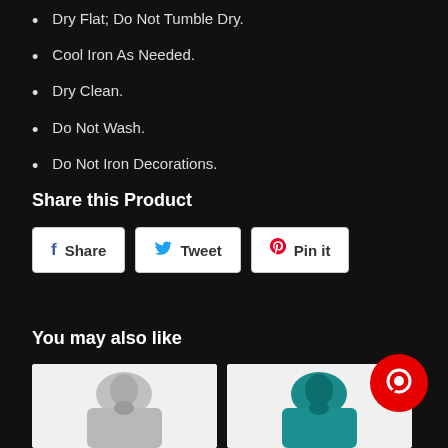Dry Flat; Do Not Tumble Dry.
Cool Iron As Needed.
Dry Clean.
Do Not Wash.
Do Not Iron Decorations.
Share this Product
Share | Tweet | Pin it
You may also like
[Figure (photo): Two product thumbnail images of jackets/hoodies on white backgrounds]
[Figure (other): Red circular chat bubble icon]